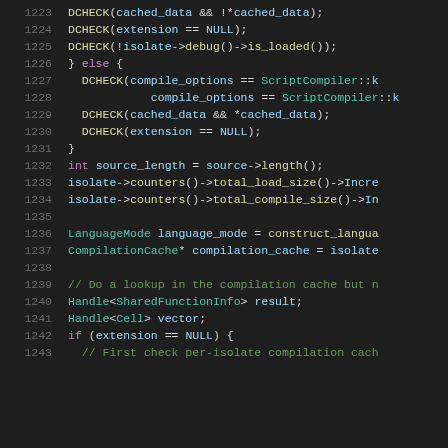[Figure (screenshot): Source code viewer showing C++ code lines 1223-1243 with syntax highlighting on a dark background. Line numbers are shown in gray on the left. Keywords and types are highlighted in purple/teal, macros in yellow, comments in green, identifiers in light blue.]